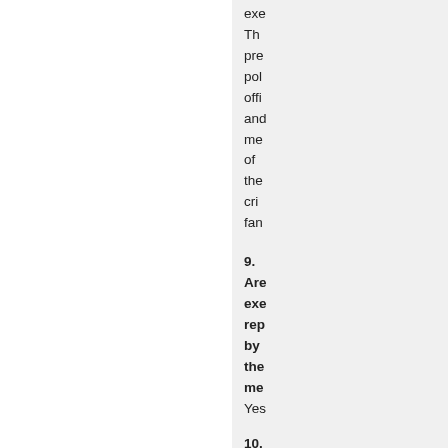exe The pre pol offi and me of the cri fan
9. Are exe rep by the me Yes 10. Are exe bro on